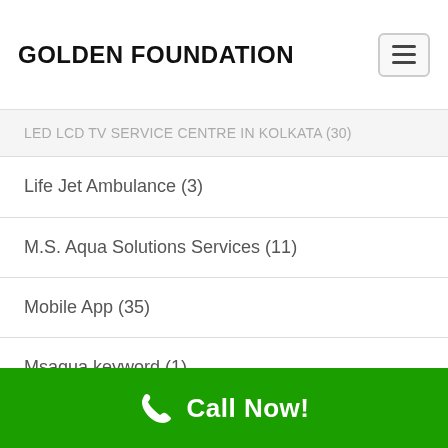GOLDEN FOUNDATION
LED LCD TV SERVICE CENTRE IN KOLKATA (30)
Life Jet Ambulance (3)
M.S. Aqua Solutions Services (11)
Mobile App (35)
Msaqua keyword (1)
news portal website design (1)
Positive Think (1)
Rajkumari aya service center (29)
Ready Haken (17)